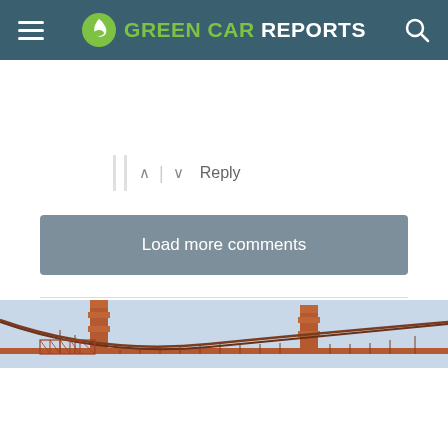GREEN CAR REPORTS
^ | v  Reply
Load more comments
Subscribe  Do Not Sell My Data
[Figure (photo): Partial view of the Golden Gate Bridge tower and cables against a light blue sky]